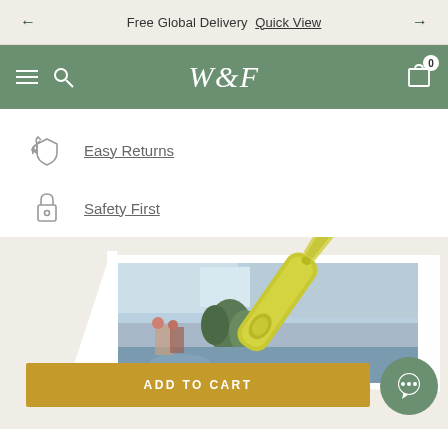← Free Global Delivery  Quick View →
W&F  [hamburger] [search] [cart 0]
Easy Returns
Safety First
[Figure (photo): Product photo showing an art print of an impressionist painting being cut with yellow-handled scissors, on a beige background]
ADD TO CART